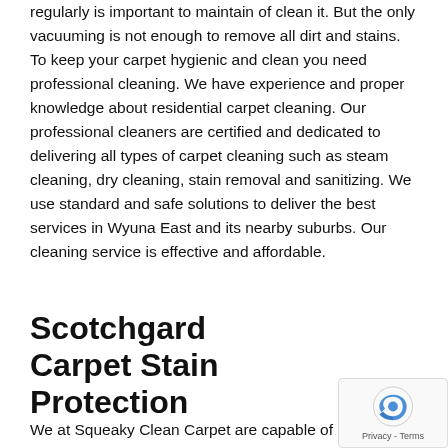regularly is important to maintain of clean it. But the only vacuuming is not enough to remove all dirt and stains. To keep your carpet hygienic and clean you need professional cleaning. We have experience and proper knowledge about residential carpet cleaning. Our professional cleaners are certified and dedicated to delivering all types of carpet cleaning such as steam cleaning, dry cleaning, stain removal and sanitizing. We use standard and safe solutions to deliver the best services in Wyuna East and its nearby suburbs. Our cleaning service is effective and affordable.
Scotchgard Carpet Stain Protection
We at Squeaky Clean Carpet are capable of